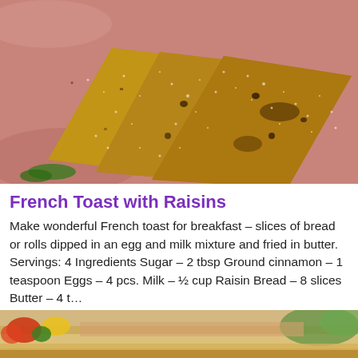[Figure (photo): Close-up photo of French toast slices dusted with powdered sugar on a pink/salmon plate]
French Toast with Raisins
Make wonderful French toast for breakfast – slices of bread or rolls dipped in an egg and milk mixture and fried in butter. Servings: 4 Ingredients Sugar – 2 tbsp Ground cinnamon – 1 teaspoon Eggs – 4 pcs. Milk – ½ cup Raisin Bread – 8 slices Butter – 4 t...
[Figure (photo): Partial photo of a sandwich with vegetables visible at the bottom of the page]